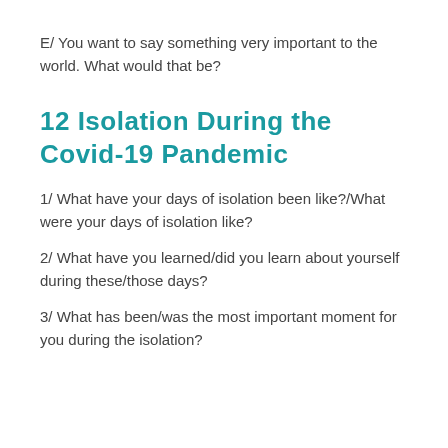E/ You want to say something very important to the world. What would that be?
12 Isolation During the Covid-19 Pandemic
1/ What have your days of isolation been like?/What were your days of isolation like?
2/ What have you learned/did you learn about yourself during these/those days?
3/ What has been/was the most important moment for you during the isolation?